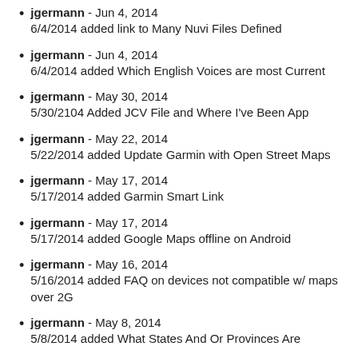jgermann - Jun 4, 2014
6/4/2014 added link to Many Nuvi Files Defined
jgermann - Jun 4, 2014
6/4/2014 added Which English Voices are most Current
jgermann - May 30, 2014
5/30/2104 Added JCV File and Where I've Been App
jgermann - May 22, 2014
5/22/2014 added Update Garmin with Open Street Maps
jgermann - May 17, 2014
5/17/2014 added Garmin Smart Link
jgermann - May 17, 2014
5/17/2014 added Google Maps offline on Android
jgermann - May 16, 2014
5/16/2014 added FAQ on devices not compatible w/ maps over 2G
jgermann - May 8, 2014
5/8/2014 added What States And Or Provinces Are